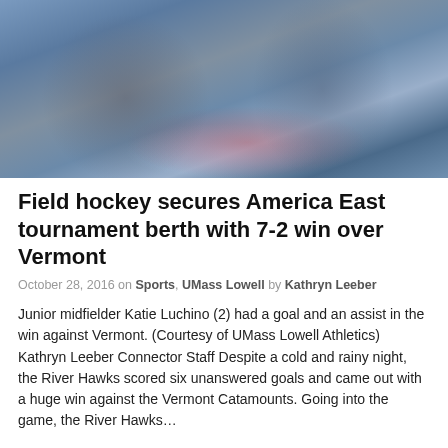[Figure (photo): Two female field hockey players in blue uniforms high-fiving each other on the field, with a crowd and team banner visible in the background.]
Field hockey secures America East tournament berth with 7-2 win over Vermont
October 28, 2016 on Sports, UMass Lowell by Kathryn Leeber
Junior midfielder Katie Luchino (2) had a goal and an assist in the win against Vermont. (Courtesy of UMass Lowell Athletics) Kathryn Leeber Connector Staff Despite a cold and rainy night, the River Hawks scored six unanswered goals and came out with a huge win against the Vermont Catamounts. Going into the game, the River Hawks…
Tags: america east, america east field hockey, america east tournament, anouk lalande, katie luchino, kristin aveni, shannon hlebichuk, umass lowell, umass lowell field hockey, umass lowell river hawks, university of vermont